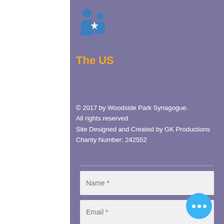[Figure (logo): The US logo with blue figures and star, orange text 'The US']
© 2017 by Woodside Park Synagogue.
All rights reserved
Site Designed and Created by GK Productions
Charity Number: 242552
Terms and Conditions
Name *
Email *